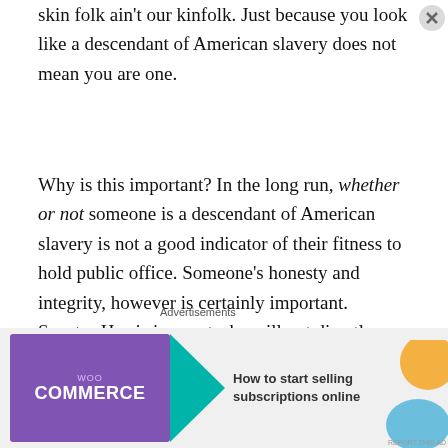skin folk ain't our kinfolk. Just because you look like a descendant of American slavery does not mean you are one.
Why is this important? In the long run, whether or not someone is a descendant of American slavery is not a good indicator of their fitness to hold public office. Someone's honesty and integrity, however is certainly important. Senator Harris is smart, she will not directly say she is descended from American slaves, but she will lament about being bused as a child. She also attended a historically black college and joined organizations set up by descendants of slaves. She is doing everything to demonstrate that she is one of us, except saying it. I say,
Advertisements
[Figure (infographic): WooCommerce advertisement banner with purple background, teal arrow graphic, orange and blue decorative shapes, and text 'How to start selling subscriptions online']